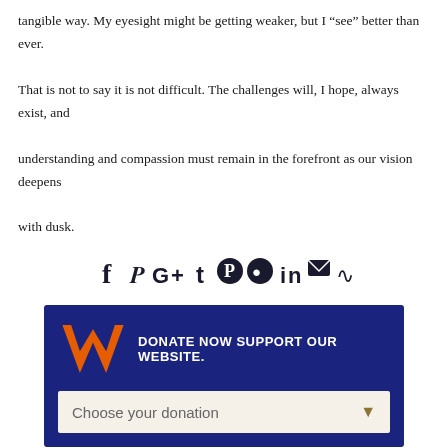tangible way. My eyesight might be getting weaker, but I “see” better than ever. That is not to say it is not difficult. The challenges will, I hope, always exist, and understanding and compassion must remain in the forefront as our vision deepens with dusk.
[Figure (infographic): Social media sharing icons: Facebook, Twitter, Google+, Tumblr, Pinterest, Reddit, LinkedIn, Email, RSS]
[Figure (infographic): Donate Now Support Our Website banner with orange W logo and Choose your donation dropdown]
You May Also Like